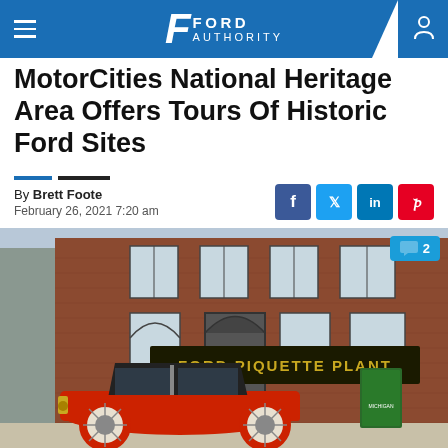FORD AUTHORITY
MotorCities National Heritage Area Offers Tours Of Historic Ford Sites
By Brett Foote
February 26, 2021 7:20 am
[Figure (photo): Vintage red Ford Model T automobile parked in front of the Ford Piquette Plant brick building with a green historical marker sign visible]
2 comments